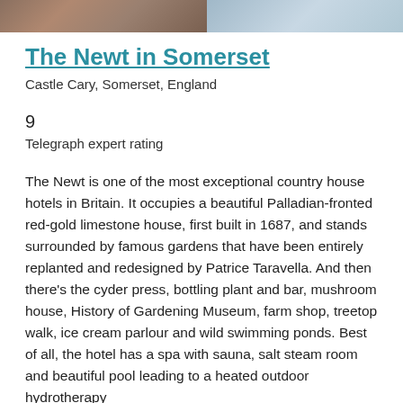[Figure (photo): Partial photo strip at top of page showing two images: left portion appears to be a person or interior in warm brown tones, right portion shows lighter blue/grey tones possibly exterior or person in light clothing]
The Newt in Somerset
Castle Cary, Somerset, England
9
Telegraph expert rating
The Newt is one of the most exceptional country house hotels in Britain. It occupies a beautiful Palladian-fronted red-gold limestone house, first built in 1687, and stands surrounded by famous gardens that have been entirely replanted and redesigned by Patrice Taravella. And then there's the cyder press, bottling plant and bar, mushroom house, History of Gardening Museum, farm shop, treetop walk, ice cream parlour and wild swimming ponds. Best of all, the hotel has a spa with sauna, salt steam room and beautiful pool leading to a heated outdoor hydrotherapy